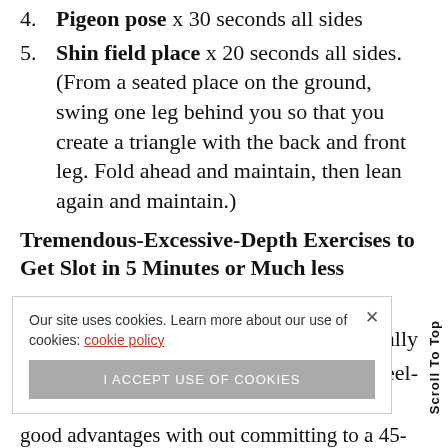4. Pigeon pose x 30 seconds all sides
5. Shin field place x 20 seconds all sides. (From a seated place on the ground, swing one leg behind you so that you create a triangle with the back and front leg. Fold ahead and maintain, then lean again and maintain.)
Tremendous-Excessive-Depth Exercises to Get Slot in 5 Minutes or Much less
Learn article
Our site uses cookies. Learn more about our use of cookies: cookie policy
I ACCEPT USE OF COOKIES
sually
elated feel-
good advantages with out committing to a 45-